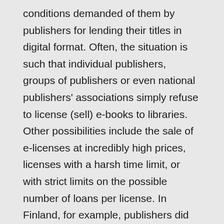conditions demanded of them by publishers for lending their titles in digital format. Often, the situation is such that individual publishers, groups of publishers or even national publishers' associations simply refuse to license (sell) e-books to libraries. Other possibilities include the sale of e-licenses at incredibly high prices, licenses with a harsh time limit, or with strict limits on the possible number of loans per license. In Finland, for example, publishers did not even want to consider the possibility of selling e-books to libraries until 2012. Through a state-financed one-year pilot project (worth 0.6 million €), implemented by the central Helsinki Metropolitan library, they softened their stance and offered libraries a limited selection of one-year licences, for 20 individual loans per license, where libraries had to pay an additional 0.63 € per loan. In Denmark, publishers wished to run down the eReolen